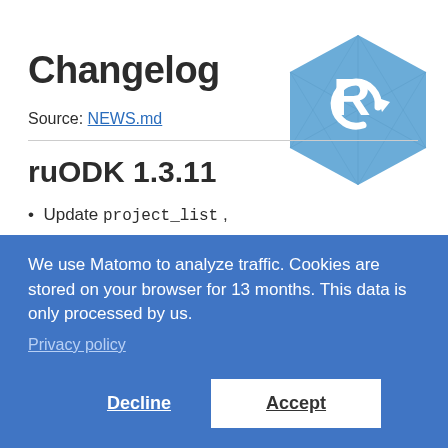Changelog
Source: NEWS.md
ruODK 1.3.11
Update project_list ,
[Figure (logo): ruODK hexagonal logo in blue with white R and circular arrow icon]
We use Matomo to analyze traffic. Cookies are stored on your browser for 13 months. This data is only processed by us. Privacy policy
Decline
Accept
ruODK 1.3.7